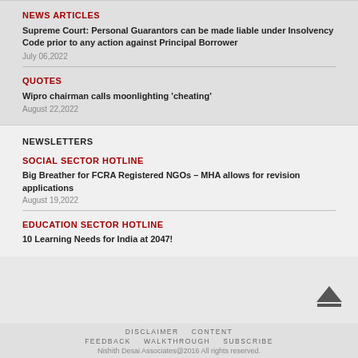NEWS ARTICLES
Supreme Court: Personal Guarantors can be made liable under Insolvency Code prior to any action against Principal Borrower
July 06,2022
QUOTES
Wipro chairman calls moonlighting 'cheating'
August 22,2022
NEWSLETTERS
SOCIAL SECTOR HOTLINE
Big Breather for FCRA Registered NGOs – MHA allows for revision applications
August 19,2022
EDUCATION SECTOR HOTLINE
10 Learning Needs for India at 2047!
DISCLAIMER   CONTENT   FEEDBACK   WALKTHROUGH   SUBSCRIBE   Nishith Desai Associates@2016 All rights reserved.